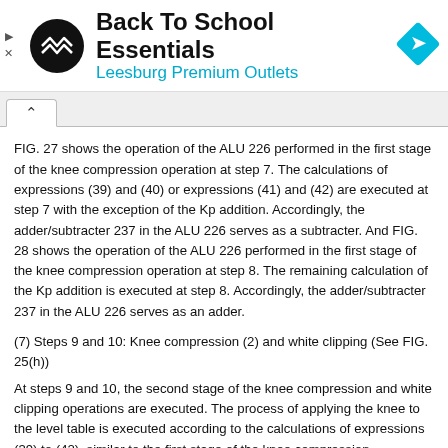[Figure (logo): Ad banner: Back To School Essentials at Leesburg Premium Outlets with navigation logo]
FIG. 27 shows the operation of the ALU 226 performed in the first stage of the knee compression operation at step 7. The calculations of expressions (39) and (40) or expressions (41) and (42) are executed at step 7 with the exception of the Kp addition. Accordingly, the adder/subtracter 237 in the ALU 226 serves as a subtracter. And FIG. 28 shows the operation of the ALU 226 performed in the first stage of the knee compression operation at step 8. The remaining calculation of the Kp addition is executed at step 8. Accordingly, the adder/subtracter 237 in the ALU 226 serves as an adder.
(7) Steps 9 and 10: Knee compression (2) and white clipping (See FIG. 25(h))
At steps 9 and 10, the second stage of the knee compression and white clipping operations are executed. The process of applying the knee to the level table is executed according to the calculations of expressions (39) to (42), similar to the first stage of the knee compression operations. In this second stage, the values are set to satisfy the conditions of Kp=Kp2 and Kc=Kc2. However, due to application of the knee twice in this case, the